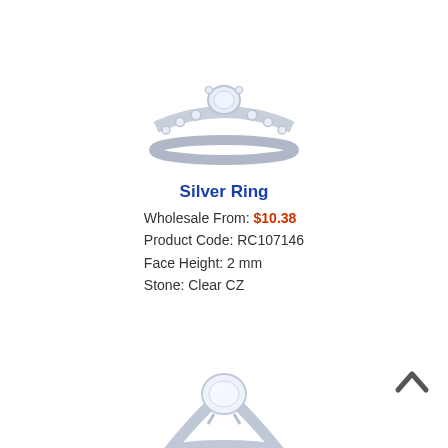[Figure (photo): Silver ring with heart-shaped CZ center stone and pavé-set band, shown as a bridal set with a matching curved band underneath]
Silver Ring
Wholesale From: $10.38
Product Code: RC107146
Face Height: 2 mm
Stone: Clear CZ
[Figure (photo): Silver solitaire ring with a large round CZ stone in a four-prong setting on a plain tapered band]
Silver Ring - Solitaire
Wholesale From: $4.08